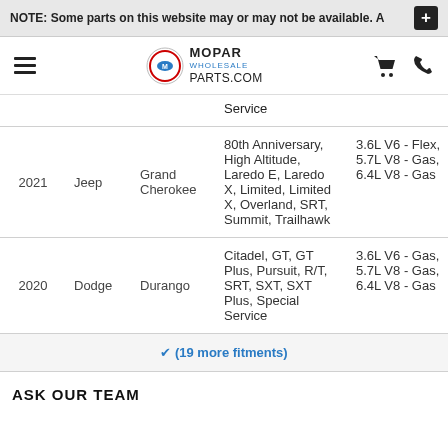NOTE: Some parts on this website may or may not be available.
[Figure (logo): Mopar Wholesale Parts.com logo with hamburger menu, cart and phone icons]
| Year | Make | Model | Trim | Engine |
| --- | --- | --- | --- | --- |
|  |  |  | Service |  |
| 2021 | Jeep | Grand Cherokee | 80th Anniversary, High Altitude, Laredo E, Laredo X, Limited, Limited X, Overland, SRT, Summit, Trailhawk | 3.6L V6 - Flex, 5.7L V8 - Gas, 6.4L V8 - Gas |
| 2020 | Dodge | Durango | Citadel, GT, GT Plus, Pursuit, R/T, SRT, SXT, SXT Plus, Special Service | 3.6L V6 - Gas, 5.7L V8 - Gas, 6.4L V8 - Gas |
(19 more fitments)
ASK OUR TEAM